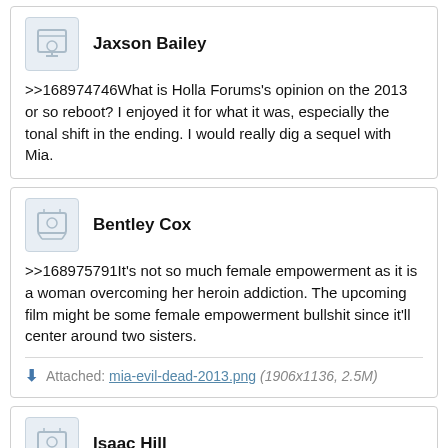Jaxson Bailey
>>168974746What is Holla Forums's opinion on the 2013 or so reboot? I enjoyed it for what it was, especially the tonal shift in the ending. I would really dig a sequel with Mia.
Bentley Cox
>>168975791It's not so much female empowerment as it is a woman overcoming her heroin addiction. The upcoming film might be some female empowerment bullshit since it'll center around two sisters.
Attached: mia-evil-dead-2013.png (1906x1136, 2.5M)
Isaac Hill
>>168975791The woman is a dumb bitch who learns her lesson from her smart older brother who cares about her. It's only female empowerment in the sense of her being the protagonist. I wouldn't say the effects are that cool